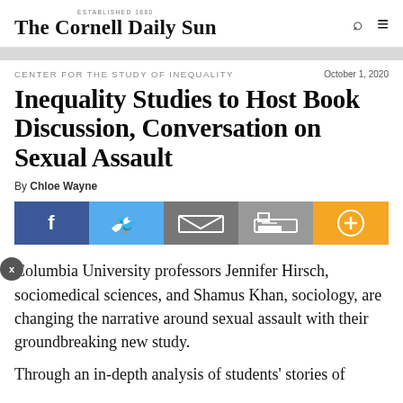The Cornell Daily Sun
CENTER FOR THE STUDY OF INEQUALITY
October 1, 2020
Inequality Studies to Host Book Discussion, Conversation on Sexual Assault
By Chloe Wayne
[Figure (other): Social share buttons: Facebook, Twitter, Email, Print, Plus]
Columbia University professors Jennifer Hirsch, sociomedical sciences, and Shamus Khan, sociology, are changing the narrative around sexual assault with their groundbreaking new study.
Through an in-depth analysis of students' stories of